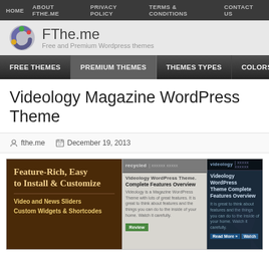HOME  ABOUT FTHE.ME  PRIVACY POLICY  TERMS & CONDITIONS  CONTACT US
[Figure (logo): FThe.me logo with colorful icon and text 'FThe.me - Free and Premium Wordpress themes']
FREE THEMES  PREMIUM THEMES  THEMES TYPES  COLORS  SPECIFI...
Videology Magazine WordPress Theme
fthe.me  December 19, 2013
[Figure (screenshot): Screenshot of Videology WordPress theme showing three panels: left panel with brown background saying 'Feature-Rich, Easy to Install & Customize', center panel showing recycled theme preview with 'Videology WordPress Theme Complete Features Overview', right panel showing dark blue Videology theme preview with 'Videology WordPress Theme Complete Features Overview']